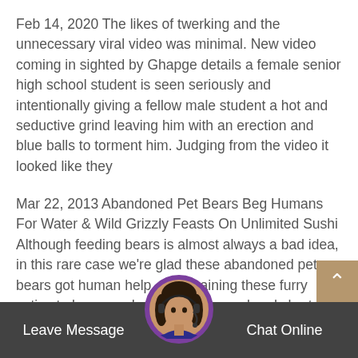Feb 14, 2020 The likes of twerking and the unnecessary viral video was minimal. New video coming in sighted by Ghapge details a female senior high school student is seen seriously and intentionally giving a fellow male student a hot and seductive grind leaving him with an erection and blue balls to torment him. Judging from the video it looked like they
Mar 22, 2013 Abandoned Pet Bears Beg Humans For Water & Wild Grizzly Feasts On Unlimited Sushi Although feeding bears is almost always a bad idea, in this rare case we're glad these abandoned pet bears got human help. After training these furry cuties to be around people, their cruel and short-sighted Russian owner unceremoniously dumped the illegally-owned... the nearest public park...
[Figure (screenshot): Chat widget bar at the bottom with avatar of a woman with headset, Leave Message button on left, Chat Online button on right, scroll-to-top button]